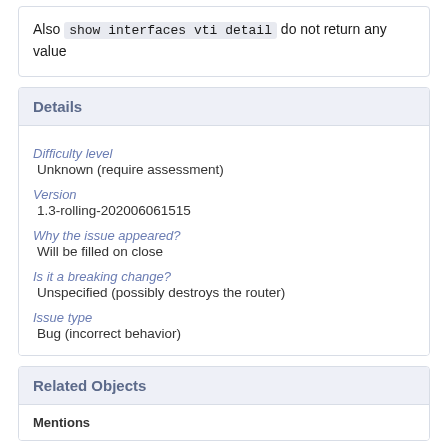Also show interfaces vti detail do not return any value
Details
Difficulty level
Unknown (require assessment)
Version
1.3-rolling-202006061515
Why the issue appeared?
Will be filled on close
Is it a breaking change?
Unspecified (possibly destroys the router)
Issue type
Bug (incorrect behavior)
Related Objects
Mentions